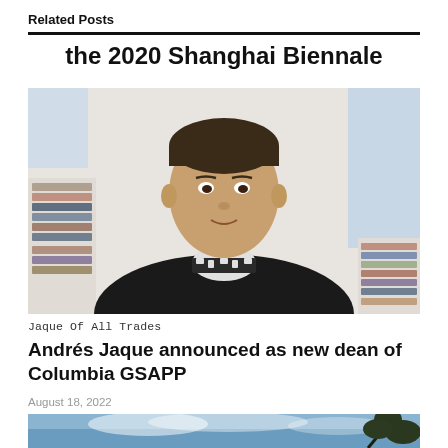Related Posts
the 2020 Shanghai Biennale
[Figure (photo): Portrait photograph of Andrés Jaque, a man in a black sweater with a houndstooth collar, standing in an office/studio environment with bookshelves in the background.]
Jaque Of All Trades
Andrés Jaque announced as new dean of Columbia GSAPP
August 18, 2022
[Figure (photo): Partial image showing a blue sky with clouds and tree branches, bottom portion of a second article thumbnail.]